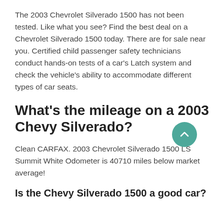The 2003 Chevrolet Silverado 1500 has not been tested. Like what you see? Find the best deal on a Chevrolet Silverado 1500 today. There are for sale near you. Certified child passenger safety technicians conduct hands-on tests of a car's Latch system and check the vehicle's ability to accommodate different types of car seats.
What's the mileage on a 2003 Chevy Silverado?
Clean CARFAX. 2003 Chevrolet Silverado 1500 LS Summit White Odometer is 40710 miles below market average!
Is the Chevy Silverado 1500 a good car?